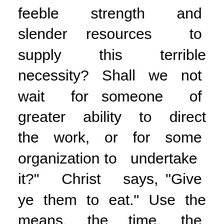feeble strength and slender resources to supply this terrible necessity? Shall we not wait for someone of greater ability to direct the work, or for some organization to undertake it?" Christ says, "Give ye them to eat." Use the means, the time, the ability, you have. Bring your barley loaves to Jesus.